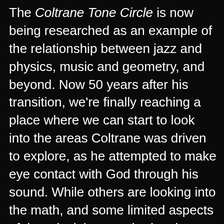The Coltrane Tone Circle is now being researched as an example of the relationship between jazz and physics, music and geometry, and beyond. Now 50 years after his transition, we're finally reaching a place where we can start to look into the areas Coltrane was driven to explore, as he attempted to make eye contact with God through his sound. While others are looking into the math, and some limited aspects of the principles attached to the form and energy of spiritual numerology, there's another area I feel we're ready to explore: The core Astrology of the lives of the most iconic figures in jazz. In looking at the Coltrane Circle, I see an Astrology circle; I see the 12 Houses, Jazz...